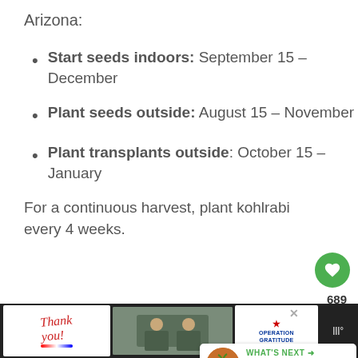Arizona:
Start seeds indoors: September 15 – December
Plant seeds outside: August 15 – November
Plant transplants outside: October 15 – January
For a continuous harvest, plant kohlrabi every 4 weeks.
[Figure (screenshot): Green heart/like button with count 689 and share icon overlay]
[Figure (screenshot): What's Next panel showing Five Tips for Growing... with carrot image]
[Figure (screenshot): Advertisement bar at bottom: Thank You military appreciation Operation Gratitude ad with weather icon]